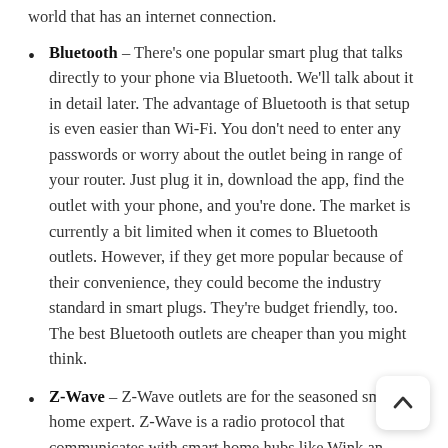world that has an internet connection.
Bluetooth – There's one popular smart plug that talks directly to your phone via Bluetooth. We'll talk about it in detail later. The advantage of Bluetooth is that setup is even easier than Wi-Fi. You don't need to enter any passwords or worry about the outlet being in range of your router. Just plug it in, download the app, find the outlet with your phone, and you're done. The market is currently a bit limited when it comes to Bluetooth outlets. However, if they get more popular because of their convenience, they could become the industry standard in smart plugs. They're budget friendly, too. The best Bluetooth outlets are cheaper than you might think.
Z-Wave – Z-Wave outlets are for the seasoned smart home expert. Z-Wave is a radio protocol that communicates with smart home hubs like Wink and Samsung SmartThings. These will only work for you if you already have a hub that communicates with Z-